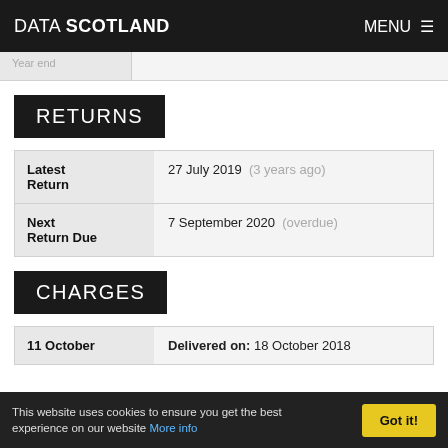DATA SCOTLAND   MENU ≡
RETURNS
|  |  |
| --- | --- |
| Latest Return | 27 July 2019  (3 years ago) |
| Next Return Due | 7 September 2020  (overdue) |
CHARGES
|  |  |
| --- | --- |
| 11 October | Delivered on: 18 October 2018 |
This website uses cookies to ensure you get the best experience on our website More info